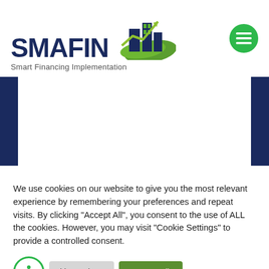[Figure (logo): SMAFIN logo with building icons, green upward arrow, and leaf graphic. Text reads 'SMAFIN' in dark navy bold letters with 'Smart Financing Implementation' below.]
[Figure (other): Green circular hamburger menu button in top right corner]
[Figure (other): Dark navy blue side bars flanking a white content area in the middle section of the page]
We use cookies on our website to give you the most relevant experience by remembering your preferences and repeat visits. By clicking "Accept All", you consent to the use of ALL the cookies. However, you may visit "Cookie Settings" to provide a controlled consent.